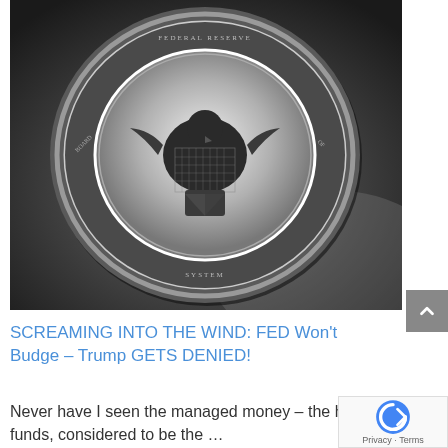[Figure (photo): Black and white photograph of what appears to be the Federal Reserve seal — an oval emblem with a eagle or bird motif in the center, surrounded by text and decorative border, on a dark background]
SCREAMING INTO THE WIND: FED Won't Budge – Trump GETS DENIED!
Never have I seen the managed money – the hedge funds, considered to be the …